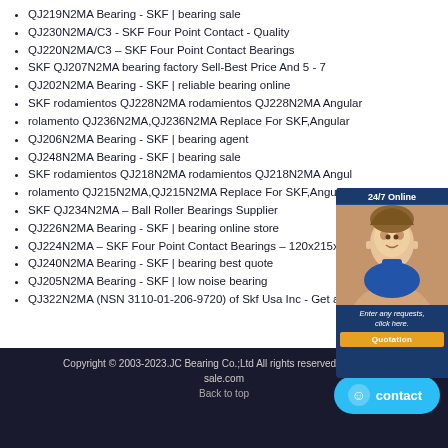QJ219N2MA Bearing - SKF | bearing sale
QJ230N2MA/C3 - SKF Four Point Contact - Quality
QJ220N2MA/C3 – SKF Four Point Contact Bearings
SKF QJ207N2MA bearing factory Sell-Best Price And 5 - 7
QJ202N2MA Bearing - SKF | reliable bearing online
SKF rodamientos QJ228N2MA rodamientos QJ228N2MA Angular
rolamento QJ236N2MA,QJ236N2MA Replace For SKF,Angular
QJ206N2MA Bearing - SKF | bearing agent
QJ248N2MA Bearing - SKF | bearing sale
SKF rodamientos QJ218N2MA rodamientos QJ218N2MA Angul
rolamento QJ215N2MA,QJ215N2MA Replace For SKF,Angular
SKF QJ234N2MA – Ball Roller Bearings Supplier
QJ226N2MA Bearing - SKF | bearing online store
QJ224N2MA – SKF Four Point Contact Bearings – 120x215x40mm
QJ240N2MA Bearing - SKF | bearing best quote
QJ205N2MA Bearing - SKF | low noise bearing
QJ322N2MA (NSN 3110-01-206-9720) of Skf Usa Inc - Get an
[Figure (photo): Chat widget showing 24/7 Online support with a female customer service agent photo, italic text 'Enter any requests, click here.' and an orange Quotation button]
Copyright © 2003-2023.JC Bearing Co.;Ltd All rights reserved. | Bearing-sale.com
Back to top